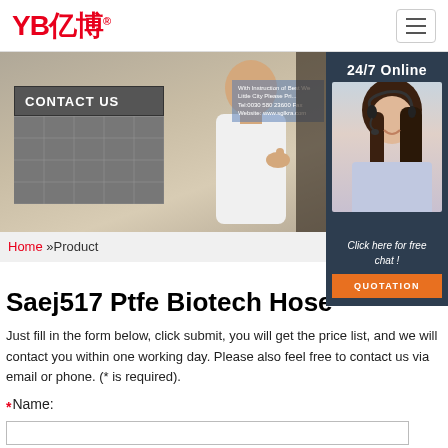[Figure (logo): YB亿博 logo in red with registered trademark symbol]
[Figure (photo): Photo of a bald man giving thumbs up at a trade show booth with 'CONTACT US' sign, beside a 24/7 Online customer service panel showing a woman with a headset]
Home »Product
Saej517 Ptfe Biotech Hose
Just fill in the form below, click submit, you will get the price list, and we will contact you within one working day. Please also feel free to contact us via email or phone. (* is required).
* Name: